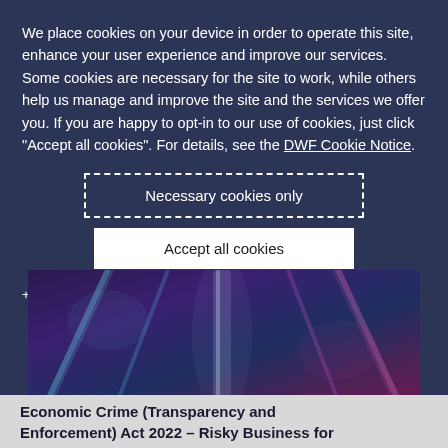We place cookies on your device in order to operate this site, enhance your user experience and improve our services. Some cookies are necessary for the site to work, while others help us manage and improve the site and the services we offer you. If you are happy to opt-in to our use of cookies, just click "Accept all cookies". For details, see the DWF Cookie Notice.
Necessary cookies only
Accept all cookies
+ Review our use of cookies and set your preferences
[Figure (photo): Abstract photo showing glass laboratory or decorative glass tubes/elements with purple, blue, magenta and teal lighting]
Economic Crime (Transparency and Enforcement) Act 2022 – Risky Business for